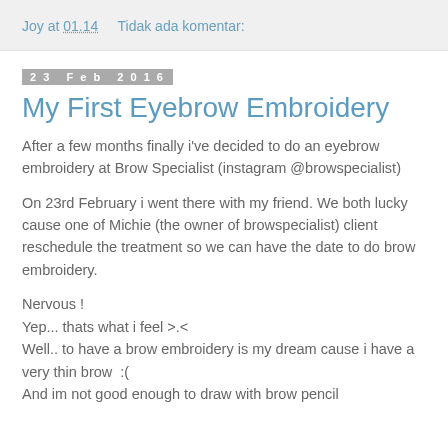Joy at 01.14    Tidak ada komentar:
23 Feb 2016
My First Eyebrow Embroidery
After a few months finally i've decided to do an eyebrow embroidery at Brow Specialist (instagram @browspecialist)
On 23rd February i went there with my friend. We both lucky cause one of Michie (the owner of browspecialist) client reschedule the treatment so we can have the date to do brow embroidery.
Nervous !
Yep... thats what i feel >.<
Well.. to have a brow embroidery is my dream cause i have a very thin brow  :(
And im not good enough to draw with brow pencil